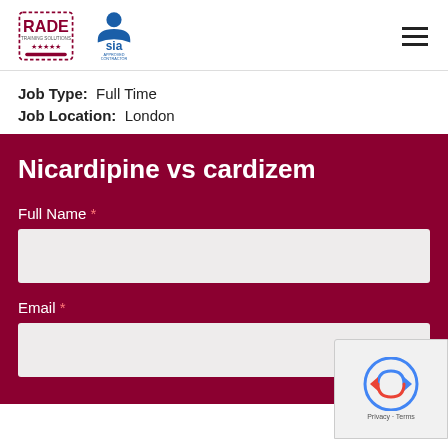[Figure (logo): RADE logo and SIA Approved Contractor logo side by side in page header, with hamburger menu icon on right]
Job Type:  Full Time
Job Location:  London
Nicardipine vs cardizem
Full Name *
Email *
Phone *